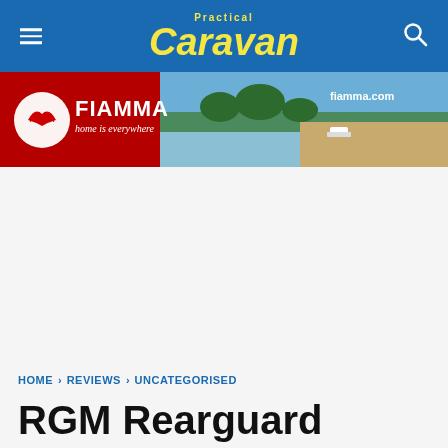Practical Caravan
[Figure (photo): Fiamma advertisement banner with red and scenic outdoor background. Shows FIAMMA logo with tagline 'home is everywhere' and website fiamma.com]
HOME › REVIEWS › UNCATEGORISED
RGM Rearguard bumper guard